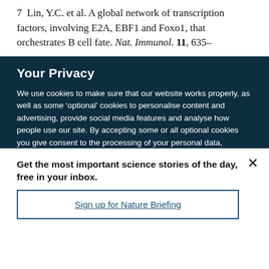7 Lin, Y.C. et al. A global network of transcription factors, involving E2A, EBF1 and Foxo1, that orchestrates B cell fate. Nat. Immunol. 11, 635–
Your Privacy
We use cookies to make sure that our website works properly, as well as some ‘optional’ cookies to personalise content and advertising, provide social media features and analyse how people use our site. By accepting some or all optional cookies you give consent to the processing of your personal data, including transfer to third parties, some in countries outside of the European Economic Area that do not offer the same data protection standards as the country where you live. You can decide which optional cookies to accept by clicking on ‘Manage Settings’, where you can
Get the most important science stories of the day, free in your inbox.
Sign up for Nature Briefing